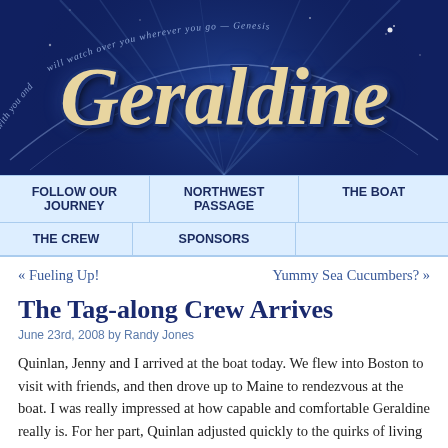[Figure (illustration): Website banner with dark blue starry night sky background, arc of light rays, decorative script text reading 'Geraldine' in large gold/cream italic letters with dark blue outline, curved italic text reading 'with you and will watch over you wherever you go — Genesis']
FOLLOW OUR JOURNEY | NORTHWEST PASSAGE | THE BOAT | THE CREW | SPONSORS
« Fueling Up!    Yummy Sea Cucumbers? »
The Tag-along Crew Arrives
June 23rd, 2008 by Randy Jones
Quinlan, Jenny and I arrived at the boat today. We flew into Boston to visit with friends, and then drove up to Maine to rendezvous at the boat. I was really impressed at how capable and comfortable Geraldine really is. For her part, Quinlan adjusted quickly to the quirks of living and sleeping